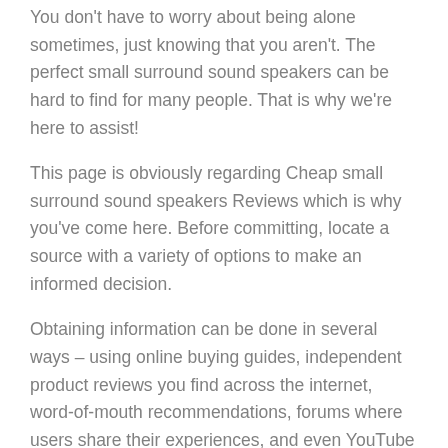You don't have to worry about being alone sometimes, just knowing that you aren't. The perfect small surround sound speakers can be hard to find for many people. That is why we're here to assist!
This page is obviously regarding Cheap small surround sound speakers Reviews which is why you've come here. Before committing, locate a source with a variety of options to make an informed decision.
Obtaining information can be done in several ways – using online buying guides, independent product reviews you find across the internet, word-of-mouth recommendations, forums where users share their experiences, and even YouTube channels. It is only through thorough research that one can come across the best products.
Correct? Does it always seem too hard to accomplish that? For that reason, we have gathered a list of the top small surround